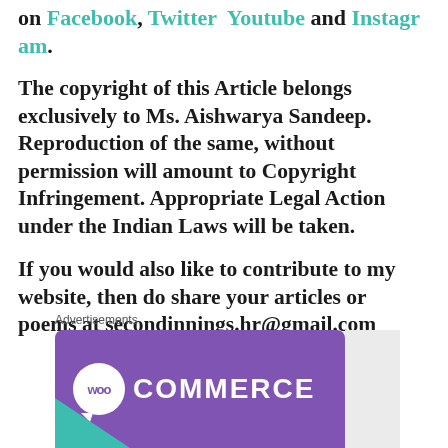on Facebook, Twitter  Youtube and Instagram.
The copyright of this Article belongs exclusively to Ms. Aishwarya Sandeep. Reproduction of the same, without permission will amount to Copyright Infringement. Appropriate Legal Action under the Indian Laws will be taken.
If you would also like to contribute to my website, then do share your articles or poems at secondinnings.hr@gmail.com
Advertisements
[Figure (logo): WooCommerce logo on purple banner background with teal triangle accent]